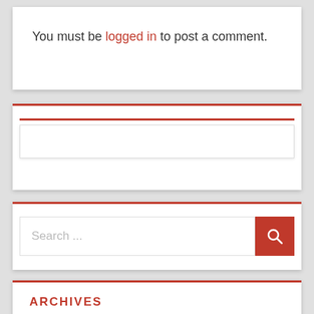You must be logged in to post a comment.
[Figure (screenshot): A widget panel with a red top border and an inner red horizontal bar above an empty white input box]
[Figure (screenshot): A search widget with a text input reading 'Search ...' and a red search button with a magnifying glass icon]
ARCHIVES